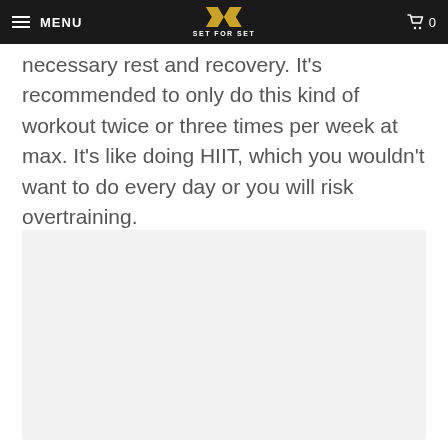MENU | SET FOR SET | 0
necessary rest and recovery. It's recommended to only do this kind of workout twice or three times per week at max. It's like doing HIIT, which you wouldn't want to do every day or you will risk overtraining.
[Figure (photo): Light grey image placeholder box]